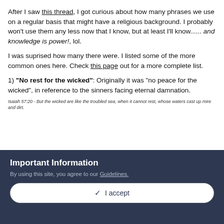After I saw this thread, I got curious about how many phrases we use on a regular basis that might have a religious background. I probably won't use them any less now that I know, but at least I'll know...... and knowledge is power!, lol.
I was suprised how many there were. I listed some of the more common ones here. Check this page out for a more complete list.
1) "No rest for the wicked": Originally it was "no peace for the wicked", in reference to the sinners facing eternal damnation.
Isaiah 57:20 - But the wicked are like the troubled sea, when it cannot rest, whose waters cast up mire and dirt.
Important Information
By using this site, you agree to our Guidelines.
✓  I accept